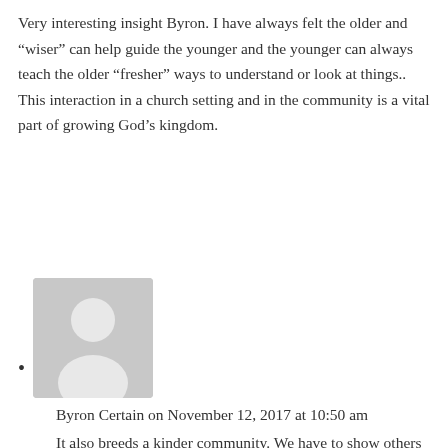Very interesting insight Byron. I have always felt the older and “wiser” can help guide the younger and the younger can always teach the older “fresher” ways to understand or look at things.. This interaction in a church setting and in the community is a vital part of growing God’s kingdom.
[Figure (illustration): Generic user avatar placeholder — grey square with white silhouette of a person]
Byron Certain on November 12, 2017 at 10:50 am
It also breeds a kinder community. We have to show others that when you walk in for the first time and don't know anyone that you are welcome. Humans tend to find others like themselves. So if our churches have all generations interacting and loving each other we